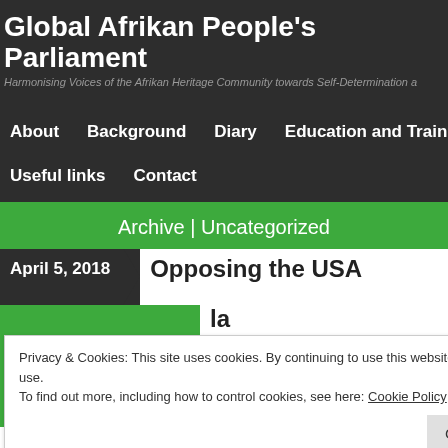Global Afrikan People's Parliament
Harmonising Voices of the Afrikan Heritage Community towards Self-Determination a
About   Background   Diary   Education and Training
Useful links   Contact
Archive | Uncategorized
April 5, 2018
Opposing the USA... la... t... ce... victory:
Privacy & Cookies: This site uses cookies. By continuing to use this website, you agree to their use.
To find out more, including how to control cookies, see here: Cookie Policy
Close and accept